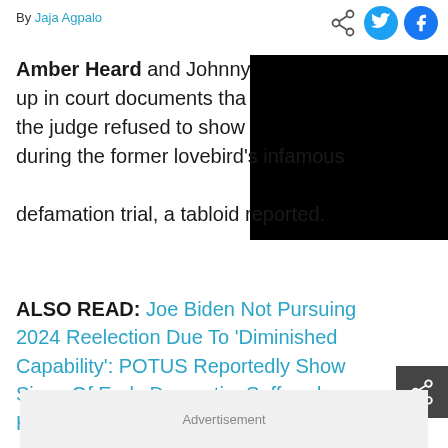By Jaja Agpalo
[Figure (other): Social share icons: share, Twitter, Facebook]
Amber Heard and Johnny [obscured] up in court documents that [obscured] the judge refused to show [obscured] during the former lovebird's infamous defamation trial, a tabloid reported.
[Figure (other): Black redacted/obscured image block covering right portion of article text]
ALSO READ: Joe Biden Not Pursuing 2024 Reelection Due To 'Diminished Capability': POTUS Reportedly Show Signs Of Early Dementia, Suffered Hallucinations
[Figure (other): Dark share icon button on right side]
Advertisement